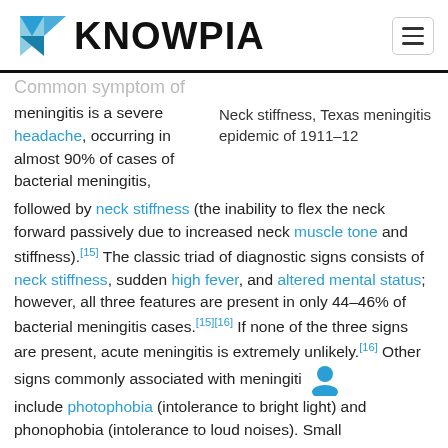KNOWPIA
Common symptom of meningitis is a severe headache, occurring in almost 90% of cases of bacterial meningitis, followed by neck stiffness (the inability to flex the neck forward passively due to increased neck muscle tone and stiffness).[15] The classic triad of diagnostic signs consists of neck stiffness, sudden high fever, and altered mental status; however, all three features are present in only 44–46% of bacterial meningitis cases.[15][16] If none of the three signs are present, acute meningitis is extremely unlikely.[16] Other signs commonly associated with meningitis include photophobia (intolerance to bright light) and phonophobia (intolerance to loud noises). Small...
Neck stiffness, Texas meningitis epidemic of 1911–12